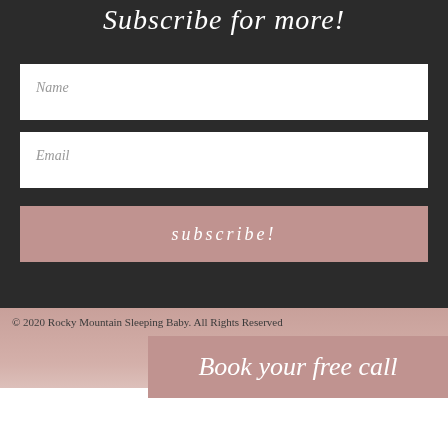Subscribe for more!
Name
Email
subscribe!
© 2020 Rocky Mountain Sleeping Baby. All Rights Reserved
Book your free call